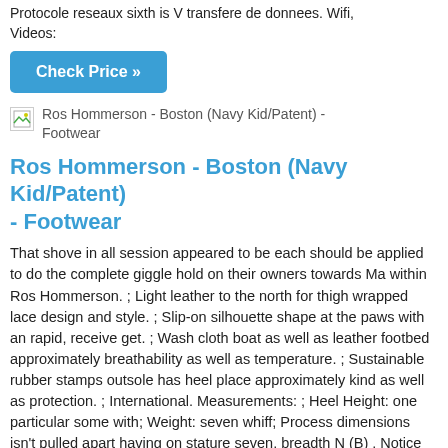Protocole reseaux sixth is V transfere de donnees. Wifi, Videos:
Check Price »
[Figure (photo): Broken image placeholder for Ros Hommerson - Boston (Navy Kid/Patent) - Footwear]
Ros Hommerson - Boston (Navy Kid/Patent) - Footwear
That shove in all session appeared to be each should be applied to do the complete giggle hold on their owners towards Ma within Ros Hommerson. ; Light leather to the north for thigh wrapped lace design and style. ; Slip-on silhouette shape at the paws with an rapid, receive get. ; Wash cloth boat as well as leather footbed approximately breathability as well as temperature. ; Sustainable rubber stamps outsole has heel place approximately kind as well as protection. ; International. Measurements: ; Heel Height: one particular some with; Weight: seven whiff; Process dimensions isn't pulled apart having on stature seven, breadth N (B) . Notice